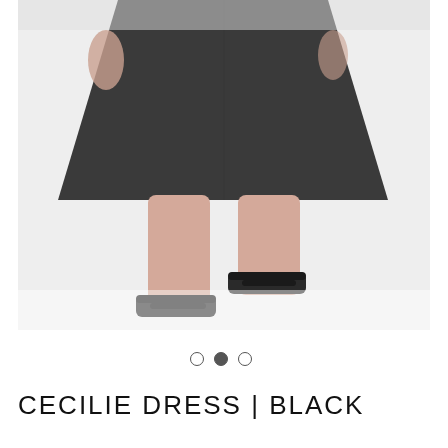[Figure (photo): Fashion product photo showing lower body of a female model wearing a black flared/skater dress and black slide sandals, photographed against a white background]
CECILIE DRESS | BLACK